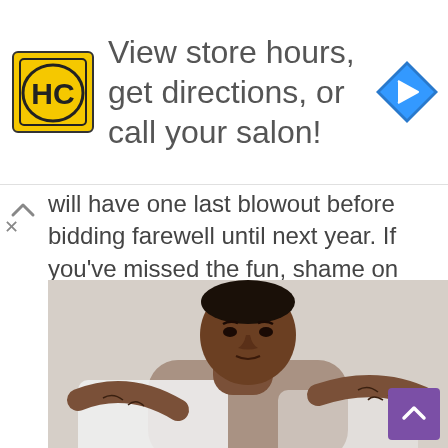[Figure (infographic): Advertisement banner with HC salon logo (yellow square with HC letters) and text 'View store hours, get directions, or call your salon!' and a blue navigation arrow icon on the right]
will have one last blowout before bidding farewell until next year. If you've missed the fun, shame on you... but you still have one last chance to get hooked up with beads, taste the authentic Cajun food and see the most authentic Mardi Gras parade this side of New Orleans!
[Figure (photo): Portrait photo of a young Black man with short hair and tattoos on his arms, hands behind his head, wearing a white shirt, photographed against a light background]